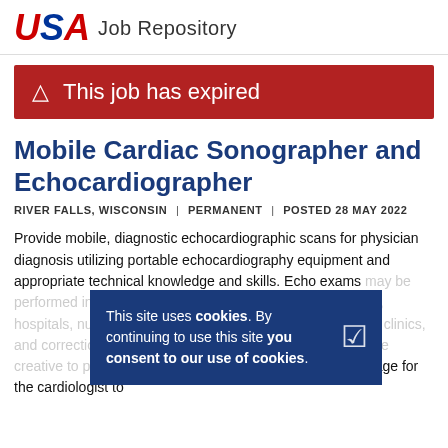USA Job Repository
This job has expired
Mobile Cardiac Sonographer and Echocardiographer
RIVER FALLS, WISCONSIN | PERMANENT | POSTED 28 MAY 2022
Provide mobile, diagnostic echocardiographic scans for physician diagnosis utilizing portable echocardiography equipment and appropriate technical knowledge and skills. Echo exams may be performed in a variety of settings, including private facilities, hospitals, nursing facilities, rehabilitation facilities, specialty clinics, and correctional facilities. The echo technologist needs to be creative to position the patient's body to capture a clear image for the cardiologist to
This site uses cookies. By continuing to use this site you consent to our use of cookies.